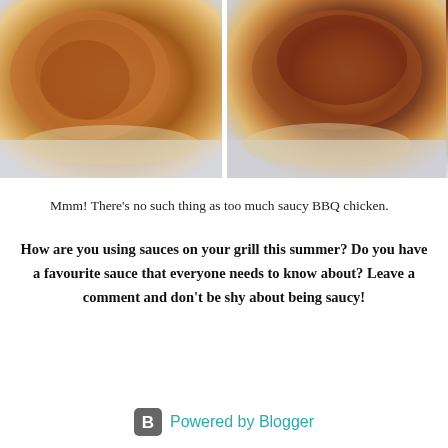[Figure (photo): Two close-up photos of glazed BBQ chicken pieces side by side, showing caramelized sauce with golden-brown coloring]
Mmm! There’s no such thing as too much saucy BBQ chicken.
How are you using sauces on your grill this summer? Do you have a favourite sauce that everyone needs to know about? Leave a comment and don't be shy about being saucy!
Powered by Blogger